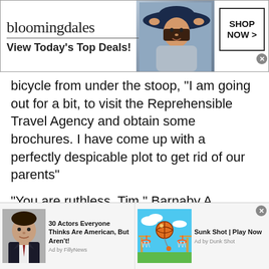[Figure (screenshot): Bloomingdale's advertisement banner with logo, 'View Today's Top Deals!' tagline, model in hat, and SHOP NOW button]
bicycle from under the stoop, "I am going out for a bit, to visit the Reprehensible Travel Agency and obtain some brochures. I have come up with a perfectly despicable plot to get rid of our parents"
"You are ruthless, Tim," Barnaby A commented happily.
"Yes. And soon to be an orphan, as well."
4. An Impending Vacation
[Figure (screenshot): Bottom ad bar with two advertisements: '30 Actors Everyone Thinks Are American, But Aren't!' by FillyNews with photo of man in suit, and 'Sunk Shot | Play Now' by Dunk Shot with basketball game image]